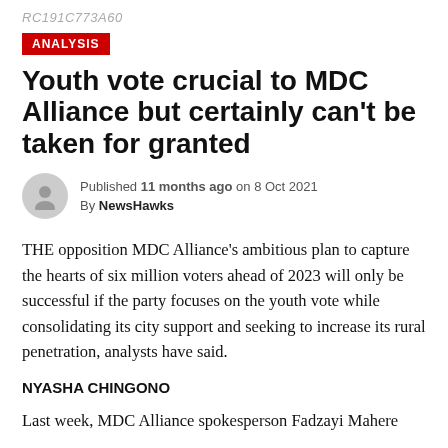RC191C773A60
ANALYSIS
Youth vote crucial to MDC Alliance but certainly can't be taken for granted
Published 11 months ago on 8 Oct 2021
By NewsHawks
THE opposition MDC Alliance's ambitious plan to capture the hearts of six million voters ahead of 2023 will only be successful if the party focuses on the youth vote while consolidating its city support and seeking to increase its rural penetration, analysts have said.
NYASHA CHINGONO
Last week, MDC Alliance spokesperson Fadzayi Mahere